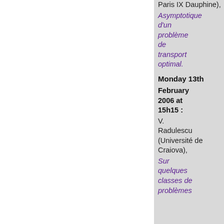Paris IX Dauphine), Asymptotique d'un problème de transport optimal.
Monday 13th
February 2006 at 15h15 :  V. Radulescu (Université de Craiova), Sur quelques classes de problèmes